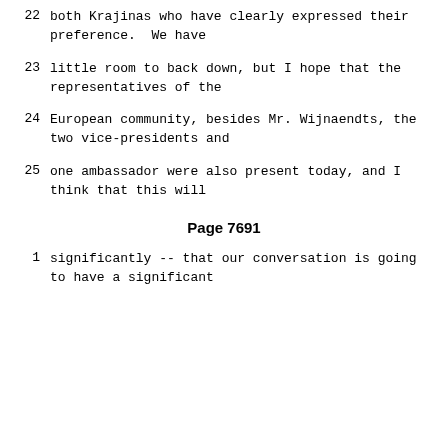22     both Krajinas who have clearly expressed their preference.  We have
23     little room to back down, but I hope that the representatives of the
24     European community, besides Mr. Wijnaendts, the two vice-presidents and
25     one ambassador were also present today, and I think that this will
Page 7691
1     significantly -- that our conversation is going to have a significant